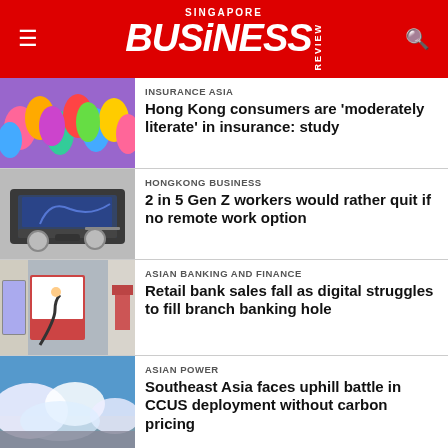Singapore Business Review
INSURANCE ASIA
Hong Kong consumers are 'moderately literate' in insurance: study
HONGKONG BUSINESS
2 in 5 Gen Z workers would rather quit if no remote work option
ASIAN BANKING AND FINANCE
Retail bank sales fall as digital struggles to fill branch banking hole
ASIAN POWER
Southeast Asia faces uphill battle in CCUS deployment without carbon pricing
HEALTH CARE ASIA MAGAZINE
Gene therapy research in India sees growing investment
RETAIL ASIA